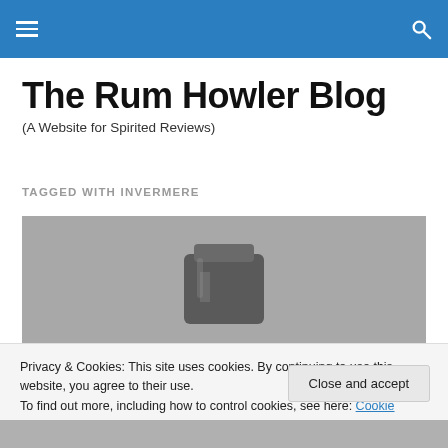The Rum Howler Blog navigation bar
The Rum Howler Blog
(A Website for Spirited Reviews)
TAGGED WITH INVERMERE
[Figure (photo): A silver flask or metallic object on a gray background]
Privacy & Cookies: This site uses cookies. By continuing to use this website, you agree to their use.
To find out more, including how to control cookies, see here: Cookie Policy
Close and accept